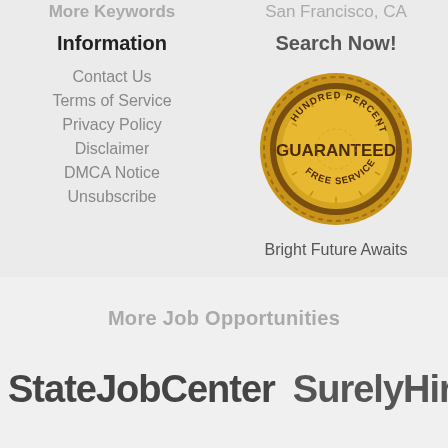More Keywords	San Francisco, CA
Information
Contact Us
Terms of Service
Privacy Policy
Disclaimer
DMCA Notice
Unsubscribe
Search Now!
[Figure (illustration): Gold badge/seal with text: HUNDRED PERCENT GUARANTEED FREE SERVICE]
Bright Future Awaits
More Job Opportunities
StateJobCenter
SurelyHired